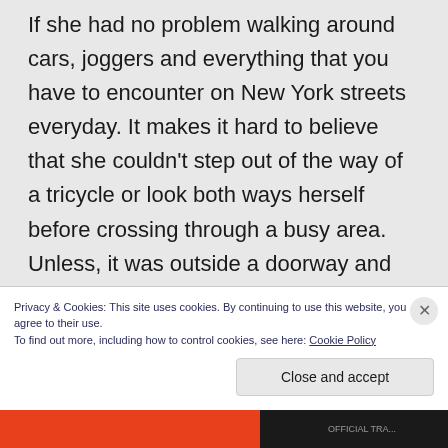If she had no problem walking around cars, joggers and everything that you have to encounter on New York streets everyday. It makes it hard to believe that she couldn't step out of the way of a tricycle or look both ways herself before crossing through a busy area. Unless, it was outside a doorway and she had just stepped out or the kid deliberately hit her.
Privacy & Cookies: This site uses cookies. By continuing to use this website, you agree to their use.
To find out more, including how to control cookies, see here: Cookie Policy